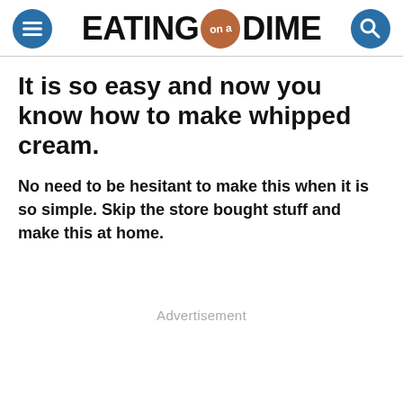EATING on a DIME
It is so easy and now you know how to make whipped cream.
No need to be hesitant to make this when it is so simple. Skip the store bought stuff and make this at home.
Advertisement